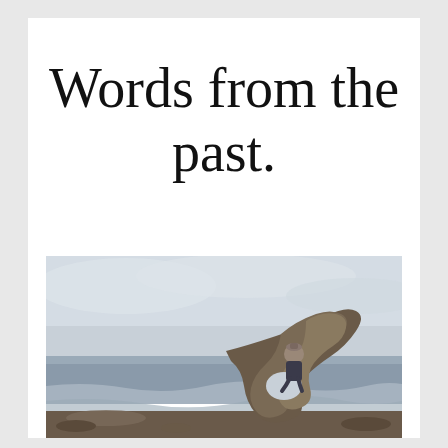Words from the past.
[Figure (photo): A person sitting on a large weathered driftwood sculpture on a rocky beach with ocean waves and overcast sky in the background.]